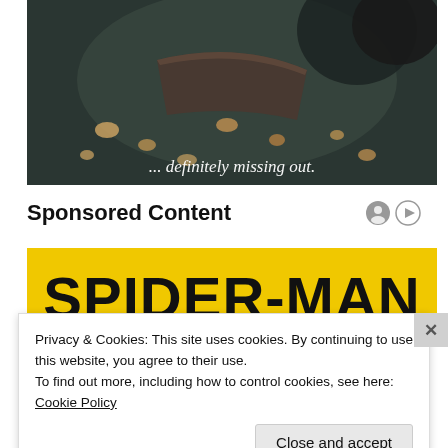[Figure (photo): Dark food photo on slate surface with crumbs, with italic script text overlay reading '... definitely missing out.']
Sponsored Content
[Figure (screenshot): Spider-Man yellow banner advertisement with bold black text 'SPIDER-MAN']
Privacy & Cookies: This site uses cookies. By continuing to use this website, you agree to their use.
To find out more, including how to control cookies, see here: Cookie Policy
Close and accept